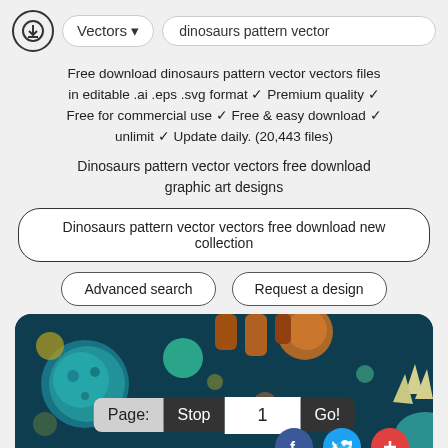Vectors ▾  dinosaurs pattern vector
Free download dinosaurs pattern vector vectors files in editable .ai .eps .svg format ✓ Premium quality ✓ Free for commercial use ✓ Free & easy download ✓ unlimit ✓ Update daily. (20,443 files)
Dinosaurs pattern vector vectors free download graphic art designs
Dinosaurs pattern vector vectors free download new collection
Advanced search    Request a design
[Figure (screenshot): Dark teal background with colorful dinosaur pattern elements including circles, dots, dinosaur figures, and a stegosaurus. Overlaid UI controls: Page: Stop 1 Go!, Advance Search label, and social media icons (Facebook, Twitter, Plus).]